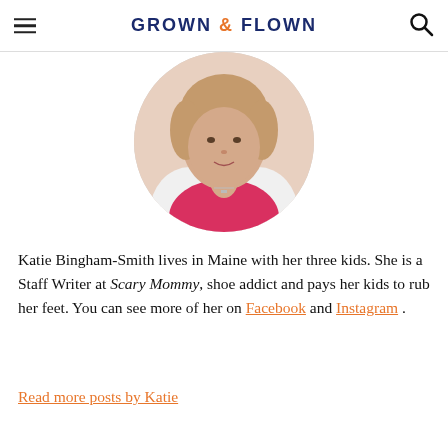GROWN & FLOWN
[Figure (photo): Circular cropped headshot of Katie Bingham-Smith, a woman wearing a pink/red top and white jacket, with a small necklace.]
Katie Bingham-Smith lives in Maine with her three kids. She is a Staff Writer at Scary Mommy, shoe addict and pays her kids to rub her feet. You can see more of her on Facebook and Instagram .
Read more posts by Katie